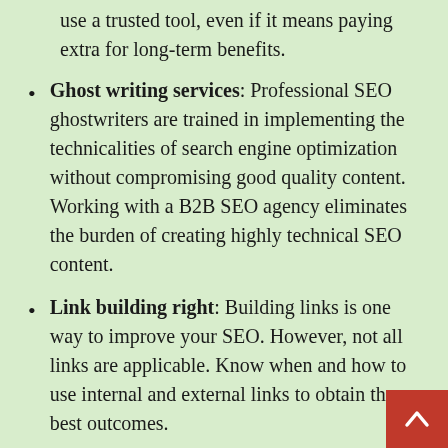use a trusted tool, even if it means paying extra for long-term benefits.
Ghost writing services: Professional SEO ghostwriters are trained in implementing the technicalities of search engine optimization without compromising good quality content. Working with a B2B SEO agency eliminates the burden of creating highly technical SEO content.
Link building right: Building links is one way to improve your SEO. However, not all links are applicable. Know when and how to use internal and external links to obtain the best outcomes.
Write for people: Creating compelling SEO content can be technical in so many ways. But